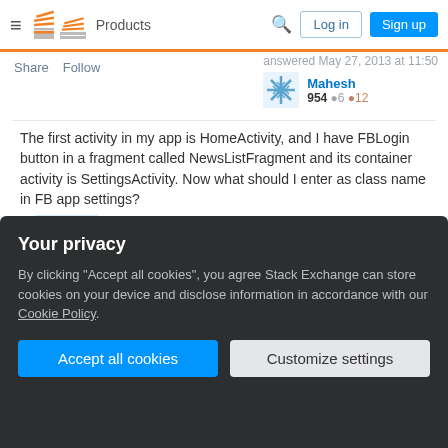≡  [Stack Overflow logo]  Products  🔍  Log in  Sign up
Share  Follow
answered May 27, 2013 at 11:50
Mahesh
954 ● 6 ● 12
The first activity in my app is HomeActivity, and I have FBLogin button in a fragment called NewsListFragment and its container activity is SettingsActivity. Now what should I enter as class name in FB app settings?
– Santhosh  May 27, 2013 at 12:15
1  have you tried adding the keyhash generated with your keystore used for signing the app? I think that will make it work. Anyway add the activity in which you are
Your privacy
By clicking "Accept all cookies", you agree Stack Exchange can store cookies on your device and disclose information in accordance with our Cookie Policy.
Accept all cookies    Customize settings
Generated keyhash with the keystore used for signing